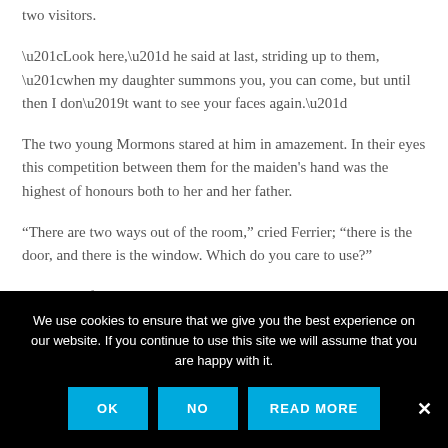two visitors.
“Look here,” he said at last, striding up to them, “when my daughter summons you, you can come, but until then I don’t want to see your faces again.”
The two young Mormons stared at him in amazement. In their eyes this competition between them for the maiden’s hand was the highest of honours both to her and her father.
“There are two ways out of the room,” cried Ferrier; “there is the door, and there is the window. Which do you care to use?”
His brown face looked so savage, and his count hands so...
We use cookies to ensure that we give you the best experience on our website. If you continue to use this site we will assume that you are happy with it.